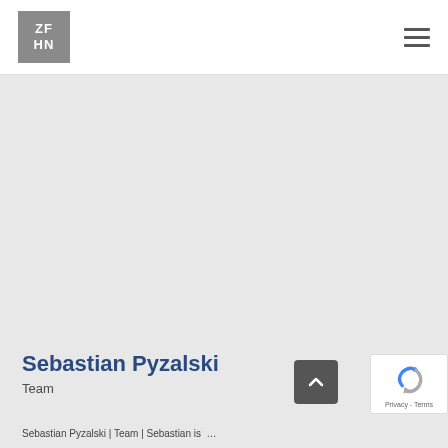[Figure (logo): ZFHN logo — gray square with white letters ZF over HN]
[Figure (other): Hamburger menu icon — three horizontal gray lines]
Sebastian Pyzalski
Team
[Figure (other): Scroll-to-top button — dark gray rounded square with upward chevron]
[Figure (other): reCAPTCHA badge showing Google reCAPTCHA logo with Privacy - Terms text]
Sebastian Pyzalski | Team | Sebastian is ...